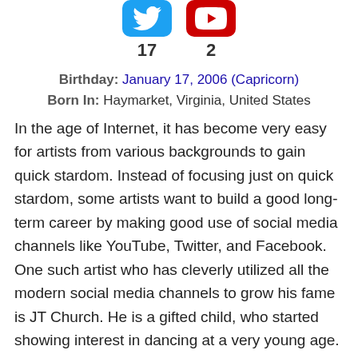[Figure (infographic): Two social media icons (Twitter in blue, YouTube in red) with counts 17 and 2 below them respectively]
Birthday: January 17, 2006 (Capricorn)
Born In: Haymarket, Virginia, United States
In the age of Internet, it has become very easy for artists from various backgrounds to gain quick stardom. Instead of focusing just on quick stardom, some artists want to build a good long-term career by making good use of social media channels like YouTube, Twitter, and Facebook. One such artist who has cleverly utilized all the modern social media channels to grow his fame is JT Church. He is a gifted child, who started showing interest in dancing at a very young age. As he was born in Virginia, there were not many dance schools (unlike